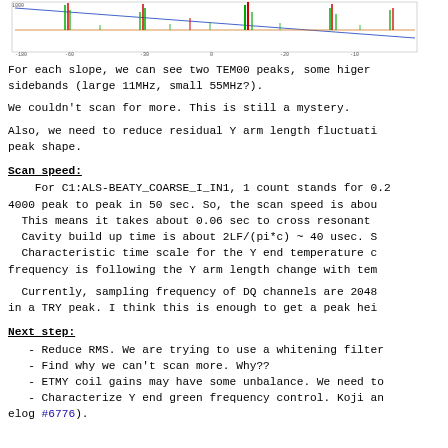[Figure (continuous-plot): Spectrum/frequency scan plot showing green and red peaks with a blue trend line, x-axis showing frequency offsets, y-axis showing amplitude. Multiple colored peaks visible against noise floor.]
For each slope, we can see two TEM00 peaks, some higer sidebands (large 11MHz, small 55MHz?).
We couldn't scan for more. This is still a mystery.
Also, we need to reduce residual Y arm length fluctuati peak shape.
Scan speed:
For C1:ALS-BEATY_COARSE_I_IN1, 1 count stands for 0.2 4000 peak to peak in 50 sec. So, the scan speed is abou This means it takes about 0.06 sec to cross resonant Cavity build up time is about 2LF/(pi*c) ~ 40 usec. S Characteristic time scale for the Y end temperature c frequency is following the Y arm length change with tem
Currently, sampling frequency of DQ channels are 2048 in a TRY peak. I think this is enough to get a peak hei
Next step:
- Reduce RMS. We are trying to use a whitening filter
- Find why we can't scan more. Why??
- ETMY coil gains may have some unbalance. We need to
- Characterize Y end green frequency control. Koji an elog #6776).